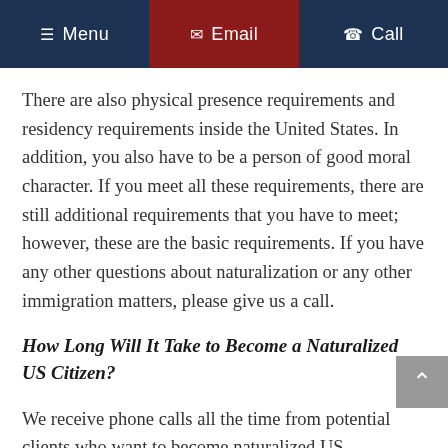Menu | Email | Call
There are also physical presence requirements and residency requirements inside the United States. In addition, you also have to be a person of good moral character. If you meet all these requirements, there are still additional requirements that you have to meet; however, these are the basic requirements. If you have any other questions about naturalization or any other immigration matters, please give us a call.
How Long Will It Take to Become a Naturalized US Citizen?
We receive phone calls all the time from potential clients who want to become naturalized US